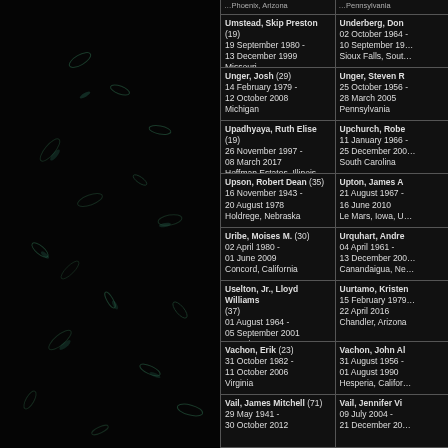[Figure (photo): Dark background with scattered faint leaf-like shapes on the left panel]
Umstead, Skip Preston (19)
19 September 1980 - 13 December 1999
Missouri
Underberg, Don
02 October 1964 - 10 September 19
Sioux Falls, Sout
Unger, Josh (29)
14 February 1979 - 12 October 2008
Michigan
Unger, Steven R
25 October 1956 - 28 March 2005
Pennsylvania
Upadhyaya, Ruth Elise (19)
26 November 1997 - 08 March 2017
Hoffman Estates, Illinois
Upchurch, Robe
11 January 1966 - 25 December 200
South Carolina
Upson, Robert Dean (35)
16 November 1943 - 20 August 1978
Holdrege, Nebraska
Upton, James A
21 August 1967 - 16 June 2010
Le Mars, Iowa, U
Uribe, Moises M. (30)
02 April 1980 - 01 June 2009
Concord, California
Urquhart, Andre
04 April 1961 - 13 December 200
Canandaigua, Ne
Uselton, Jr., Lloyd Williams (37)
01 August 1964 - 05 September 2001
Georgia
Uurtamo, Kristen
15 February 1979 - 22 April 2016
Chandler, Arizona
Vachon, Erik (23)
31 October 1982 - 11 October 2006
Virginia
Vachon, John A
31 August 1956 - 01 August 1990
Hesperia, Califor
Vail, James Mitchell (71)
29 May 1941 - 30 October 2012
Vail, Jennifer Vi
09 July 2004 - 21 December 20